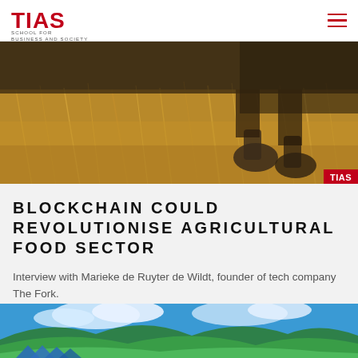TIAS — School for Business and Society
[Figure (photo): Close-up of straw/hay on ground with boots visible, agricultural scene with warm golden tones. TIAS badge in bottom right corner.]
BLOCKCHAIN COULD REVOLUTIONISE AGRICULTURAL FOOD SECTOR
Interview with Marieke de Ruyter de Wildt, founder of tech company The Fork.
[Figure (photo): Aerial landscape of lush green rolling hills and valleys under a blue sky with white clouds. Blue tents visible in the lower portion of the image.]